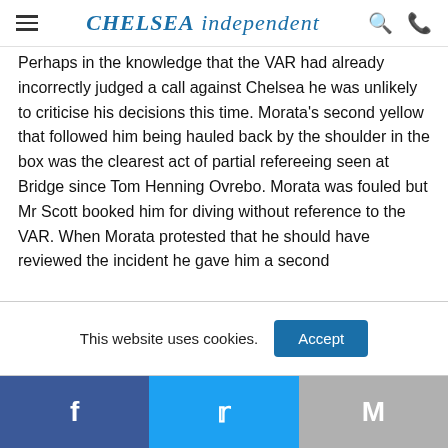CHELSEA independent
Perhaps in the knowledge that the VAR had already incorrectly judged a call against Chelsea he was unlikely to criticise his decisions this time. Morata's second yellow that followed him being hauled back by the shoulder in the box was the clearest act of partial refereeing seen at Bridge since Tom Henning Ovrebo. Morata was fouled but Mr Scott booked him for diving without reference to the VAR. When Morata protested that he should have reviewed the incident he gave him a second
This website uses cookies.
Accept